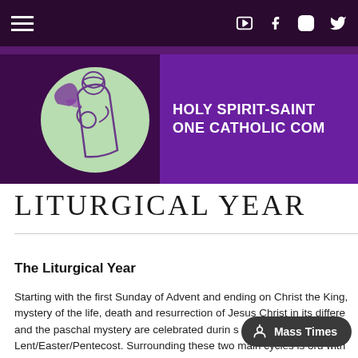Navigation bar with hamburger menu and social icons (YouTube, Facebook, Instagram, Twitter)
[Figure (logo): Holy Spirit-Saint church logo banner with illustration of Madonna and child in green circle on purple background, text: HOLY SPIRIT-SAINT / ONE CATHOLIC COM]
LITURGICAL YEAR
The Liturgical Year
Starting with the first Sunday of Advent and ending on Christ the King, mystery of the life, death and resurrection of Jesus Christ in its differe and the paschal mystery are celebrated durin s o and Lent/Easter/Pentecost. Surrounding these two main cycles is ord with the feasts of Christ the Blessed Mother and the saints